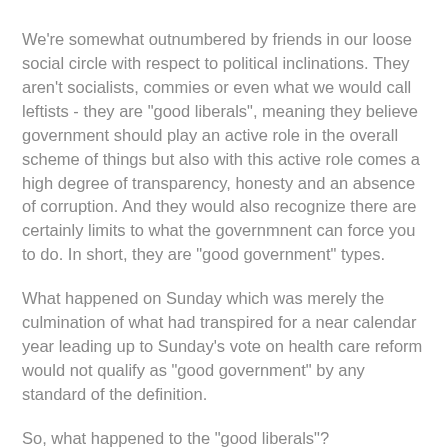We're somewhat outnumbered by friends in our loose social circle with respect to political inclinations. They aren't socialists, commies or even what we would call leftists - they are "good liberals", meaning they believe government should play an active role in the overall scheme of things but also with this active role comes a high degree of transparency, honesty and an absence of corruption. And they would also recognize there are certainly limits to what the governmnent can force you to do. In short, they are "good government" types.
What happened on Sunday which was merely the culmination of what had transpired for a near calendar year leading up to Sunday's vote on health care reform would not qualify as "good government" by any standard of the definition.
So, what happened to the "good liberals"?